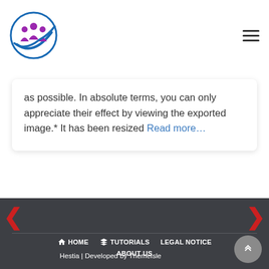[Figure (logo): Circular logo with purple figures and blue checkmark/swoosh, ThemeIsle site logo]
as possible. In absolute terms, you can only appreciate their effect by viewing the exported image.* It has been resized Read more…
HOME  TUTORIALS  LEGAL NOTICE  ABOUT US  Hestia | Developed by ThemeIsle